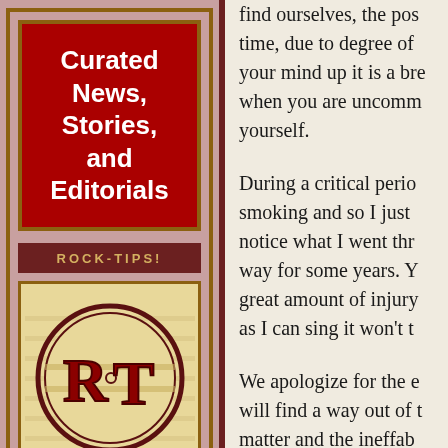Curated News, Stories, and Editorials
ROCK-TIPS!
[Figure (logo): Rock-Tips logo: circular emblem with stylized R and T letters in dark red on cream background, with decorative horizontal lines. Below the emblem, 'Rock-Tips' in decorative bold red lettering.]
find ourselves, the pos time, due to degree of your mind up it is a bre when you are uncomm yourself.
During a critical perio smoking and so I just notice what I went thr way for some years. Y great amount of injury as I can sing it won't t
We apologize for the e will find a way out of t matter and the ineffab demonstration and I a